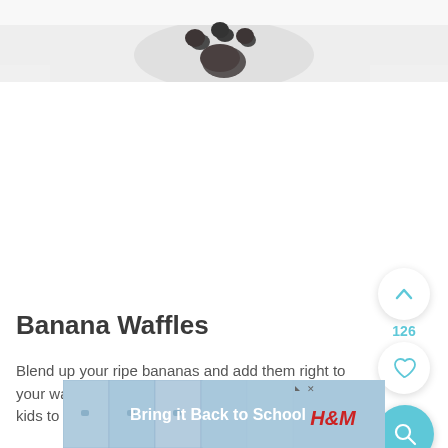[Figure (photo): Top portion of a food/recipe photo showing what appears to be a cat or animal with chocolate/dark colored spots on a white background, cropped at the top of the page]
Banana Waffles
Blend up your ripe bananas and add them right to your waffle batter. Sometimes it's just easier to get kids to...ed
[Figure (infographic): H&M advertisement banner reading 'Bring it Back to School' with school locker imagery and H&M logo in red, with play and close controls in top right]